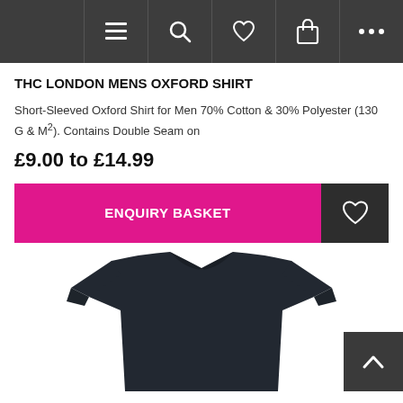[Figure (screenshot): Navigation bar with dark background containing hamburger menu, search, heart/wishlist, shopping bag, and ellipsis icons]
THC LONDON MENS OXFORD SHIRT
Short-Sleeved Oxford Shirt for Men 70% Cotton & 30% Polyester (130 G & M²). Contains Double Seam on
£9.00 to £14.99
[Figure (screenshot): Magenta/pink ENQUIRY BASKET button with dark heart/wishlist icon button on the right]
[Figure (photo): Dark navy/black long-sleeve shirt product photo shown against white background, partially cropped at bottom]